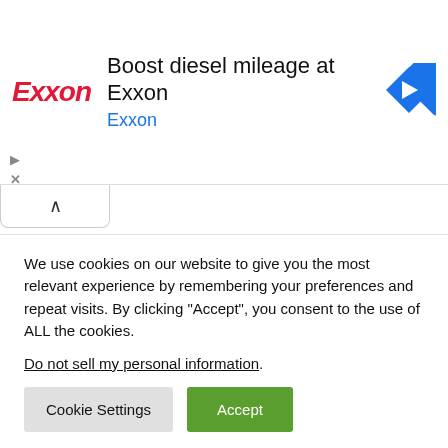[Figure (screenshot): Exxon advertisement banner: Exxon logo in red italic text on left, headline 'Boost diesel mileage at Exxon' in large black text, 'Exxon' in blue below, blue diamond navigation icon on right. Small play and close (X) icons at bottom left. Below banner: a white collapse tab with upward caret arrow.]
AUTHORS
STAFF REPORTER
We use cookies on our website to give you the most relevant experience by remembering your preferences and repeat visits. By clicking “Accept”, you consent to the use of ALL the cookies.
Do not sell my personal information.
Cookie Settings
Accept